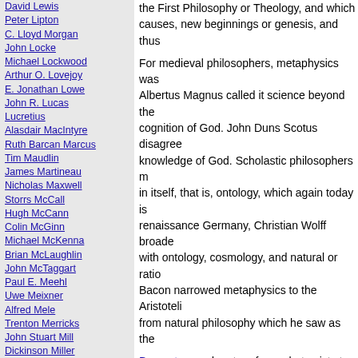David Lewis
Peter Lipton
C. Lloyd Morgan
John Locke
Michael Lockwood
Arthur O. Lovejoy
E. Jonathan Lowe
John R. Lucas
Lucretius
Alasdair MacIntyre
Ruth Barcan Marcus
Tim Maudlin
James Martineau
Nicholas Maxwell
Storrs McCall
Hugh McCann
Colin McGinn
Michael McKenna
Brian McLaughlin
John McTaggart
Paul E. Meehl
Uwe Meixner
Alfred Mele
Trenton Merricks
John Stuart Mill
Dickinson Miller
G.E Moore
Thomas Nagel
Otto Neurath
Friedrich Nietzsche
John Norton
P.H.Nowell-Smith
Robert Nozick
William of Ockham
Timothy O'Connor
Parmenides
David F. Pears
the First Philosophy or Theology, and which ... causes, new beginnings or genesis, and thus...
For medieval philosophers, metaphysics was... Albertus Magnus called it science beyond the... cognition of God. John Duns Scotus disagree... knowledge of God. Scholastic philosophers m... in itself, that is, ontology, which again today is... renaissance Germany, Christian Wolff broade... with ontology, cosmology, and natural or ratio... Bacon narrowed metaphysics to the Aristoteli... from natural philosophy which he saw as the
Descartes made a turn from what exists to kr... emphasis from a study of being to a study of... empiricists in England like John Locke and D... things beyond psychology and "secondary" s... knowledge was possible apart from experime... metaphysics was sophistry and illusion.
If we take in our hand any volume; of divinity... Does it contain any abstract reasoning conce... any experimental reasoning concerning matt... the flames: for it can contain nothing but sop...
(Enquiry Concerning Human Understanding, section X...)
In Germany, Kant's Critiques of Reason claim... called noumenal, for pure, or a priori, reason... phenomenal realm is deterministic, matter go...